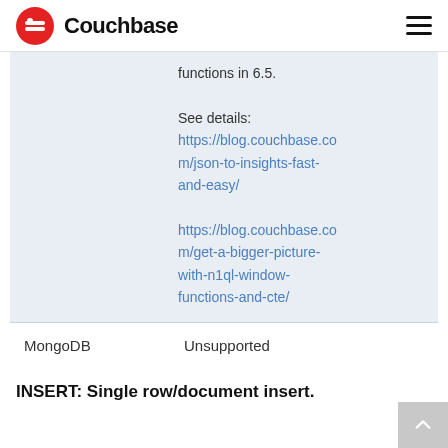Couchbase
functions in 6.5.

See details:
https://blog.couchbase.com/json-to-insights-fast-and-easy/

https://blog.couchbase.com/get-a-bigger-picture-with-n1ql-window-functions-and-cte/
| MongoDB | Unsupported |
INSERT:  Single row/document insert.